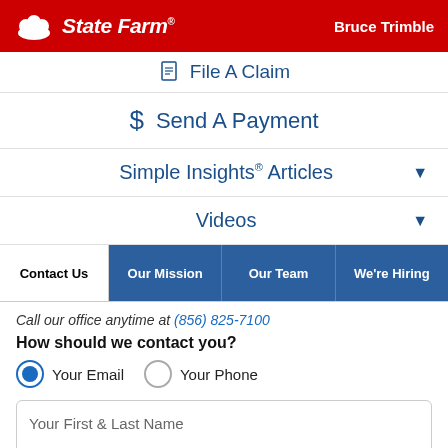State Farm | Bruce Trimble
File A Claim
Send A Payment
Simple Insights® Articles
Videos
Contact Us | Our Mission | Our Team | We're Hiring
Call our office anytime at (856) 825-7100
How should we contact you?
Your Email  Your Phone
Your First & Last Name